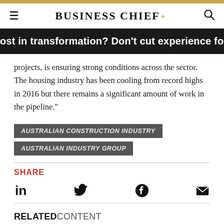BUSINESS CHIEF.
ost in transformation? Don't cut experience for efficiency
projects, is ensuring strong conditions across the sector. The housing industry has been cooling from record highs in 2016 but there remains a significant amount of work in the pipeline."
AUSTRALIAN CONSTRUCTION INDUSTRY
AUSTRALIAN INDUSTRY GROUP
SHARE
RELATED CONTENT